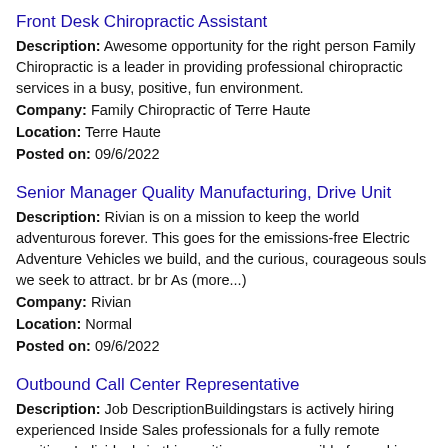Front Desk Chiropractic Assistant
Description: Awesome opportunity for the right person Family Chiropractic is a leader in providing professional chiropractic services in a busy, positive, fun environment.
Company: Family Chiropractic of Terre Haute
Location: Terre Haute
Posted on: 09/6/2022
Senior Manager Quality Manufacturing, Drive Unit
Description: Rivian is on a mission to keep the world adventurous forever. This goes for the emissions-free Electric Adventure Vehicles we build, and the curious, courageous souls we seek to attract. br br As (more...)
Company: Rivian
Location: Normal
Posted on: 09/6/2022
Outbound Call Center Representative
Description: Job DescriptionBuildingstars is actively hiring experienced Inside Sales professionals for a fully remote position. Individuals in this position are responsible for making outbound business to business (more...)
Company: Buildingstars
Location: Normal